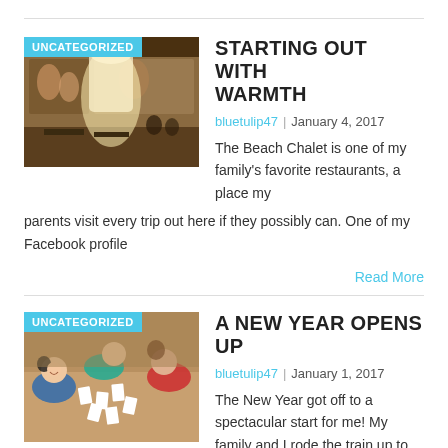[Figure (photo): Interior of a historic restaurant/hall with murals on walls and sunlight streaming through windows]
STARTING OUT WITH WARMTH
bluetulip47 | January 4, 2017
The Beach Chalet is one of my family's favorite restaurants, a place my parents visit every trip out here if they possibly can. One of my Facebook profile
Read More
[Figure (photo): Group of young people lying on the floor playing a card game]
A NEW YEAR OPENS UP
bluetulip47 | January 1, 2017
The New Year got off to a spectacular start for me! My family and I rode the train up to San Francisco and walked out to near the